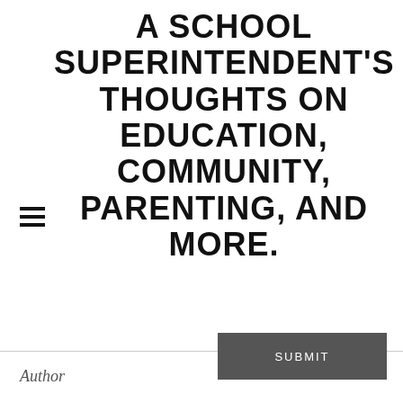A SCHOOL SUPERINTENDENT'S THOUGHTS ON EDUCATION, COMMUNITY, PARENTING, AND MORE.
SUBMIT
Author